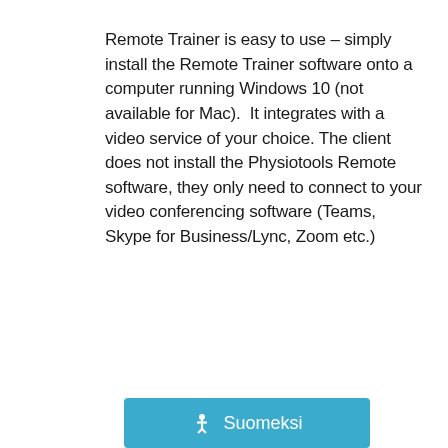Remote Trainer is easy to use – simply install the Remote Trainer software onto a computer running Windows 10 (not available for Mac).  It integrates with a video service of your choice. The client does not install the Physiotools Remote software, they only need to connect to your video conferencing software (Teams, Skype for Business/Lync, Zoom etc.)
[Figure (other): A blue button labeled 'Suomeksi' with a person/star icon on the left]